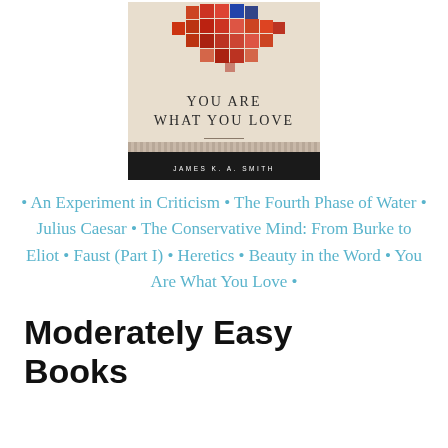[Figure (illustration): Book cover of 'You Are What You Love: The Spiritual Power of Habit' by James K. A. Smith, featuring a colorful mosaic heart design on a beige background.]
• An Experiment in Criticism • The Fourth Phase of Water • Julius Caesar • The Conservative Mind: From Burke to Eliot • Faust (Part I) • Heretics • Beauty in the Word • You Are What You Love •
Moderately Easy Books